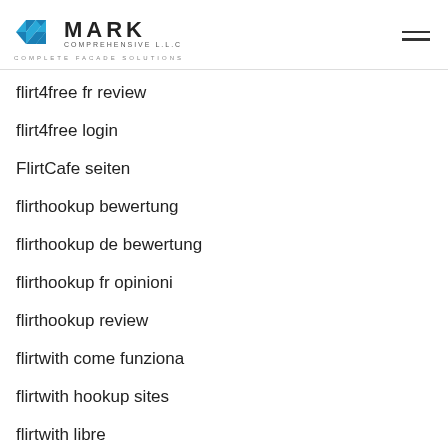MARK COMPREHENSIVE L.L.C COMPLETE FACADE SOLUTIONS
flirt4free fr review
flirt4free login
FlirtCafe seiten
flirthookup bewertung
flirthookup de bewertung
flirthookup fr opinioni
flirthookup review
flirtwith come funziona
flirtwith hookup sites
flirtwith libre